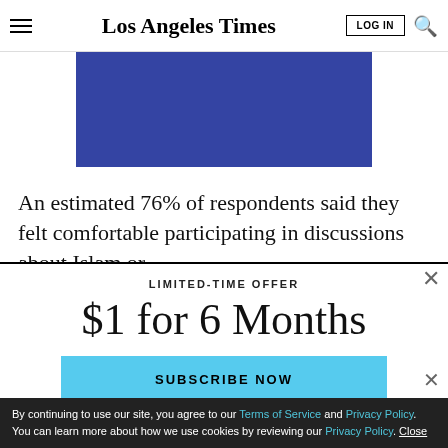Los Angeles Times
[Figure (other): Blue rectangular advertisement banner]
An estimated 76% of respondents said they felt comfortable participating in discussions about Islam or
LIMITED-TIME OFFER
$1 for 6 Months
SUBSCRIBE NOW
Season 3 of The Times entertainment podcast is here
By continuing to use our site, you agree to our Terms of Service and Privacy Policy. You can learn more about how we use cookies by reviewing our Privacy Policy. Close